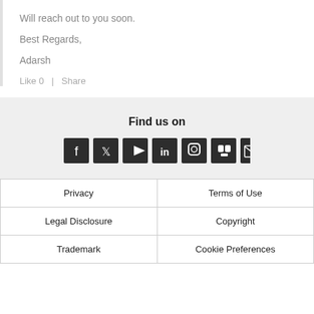Will reach out to you soon.
Best Regards,
Adarsh
Like 0  |  Share
Find us on
[Figure (other): Row of 7 social media icon buttons: Facebook, Twitter, YouTube, LinkedIn, Instagram, Slideshare, Email]
| Privacy | Terms of Use |
| Legal Disclosure | Copyright |
| Trademark | Cookie Preferences |